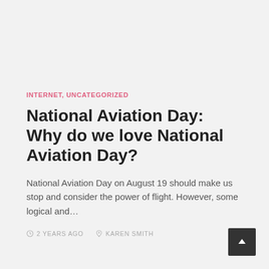INTERNET, UNCATEGORIZED
National Aviation Day: Why do we love National Aviation Day?
National Aviation Day on August 19 should make us stop and consider the power of flight. However, some logical and…
2 YEARS AGO   KAREN SMITH